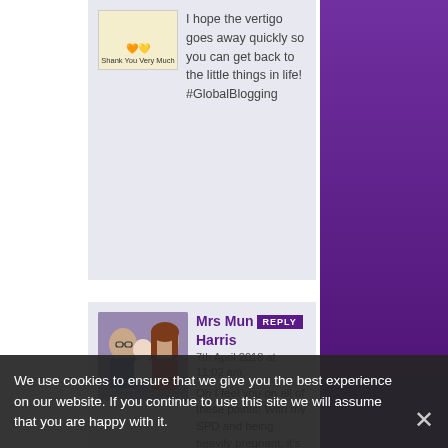[Figure (photo): Small thumbnail image with text 'Shank You Very Much' at bottom, beige/cream background]
I hope the vertigo goes away quickly so you can get back to the little things in life! #GlobalBlogging
[Figure (photo): Photo of a man and woman with a baby, appears to be a family photo]
Mrs Mun Harris REPLY 7th April 2018 at 11:02 am
Oh I feel you on all of these points! With my SPD and being heavily pregnant, it's making it anything without it taking affect. We had a big, last weekend followed by a coffee shop chit
We use cookies to ensure that we give you the best experience on our website. If you continue to use this site we will assume that you are happy with it.